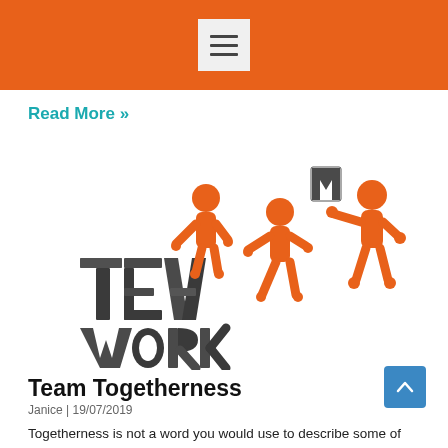☰ (navigation menu icon)
Read More »
[Figure (illustration): Three orange mannequin figures assembling large 3D dark grey letters spelling TEAMWORK — one figure stands on the letters TEA, another passes the letter M, and a third catches it.]
Team Togetherness
Janice | 19/07/2019
Togetherness is not a word you would use to describe some of the teams we have run into in some